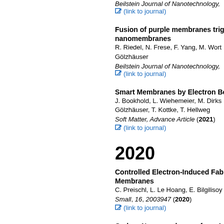Beilstein Journal of Nanotechnology,
(link to journal)
Fusion of purple membranes triggered by ... nanomembranes
R. Riedel, N. Frese, F. Yang, M. Wort... Gölzhäuser
Beilstein Journal of Nanotechnology,
(link to journal)
Smart Membranes by Electron Bea...
J. Bookhold, L. Wiehemeier, M. Dirks... Gölzhäuser, T. Kottke, T. Hellweg
Soft Matter, Advance Article (2021)
(link to journal)
2020
Controlled Electron-Induced Fabric... Membranes
C. Preischl, L. Le Hoang, E. Bilgilisoy...
Small, 16, 2003947 (2020)
(link to journal)
Carbon Nanomembranes from Aro...
P. Dementyev, D. Naberezhnyi, M. W...